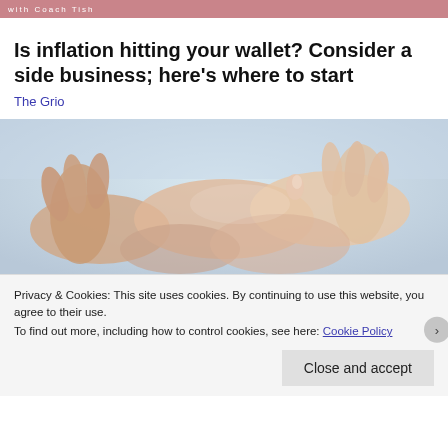with Coach Tish
Is inflation hitting your wallet? Consider a side business; here's where to start
The Grio
[Figure (photo): Close-up photo of two people holding hands, warm skin tones, soft focus background]
Privacy & Cookies: This site uses cookies. By continuing to use this website, you agree to their use.
To find out more, including how to control cookies, see here: Cookie Policy
Close and accept